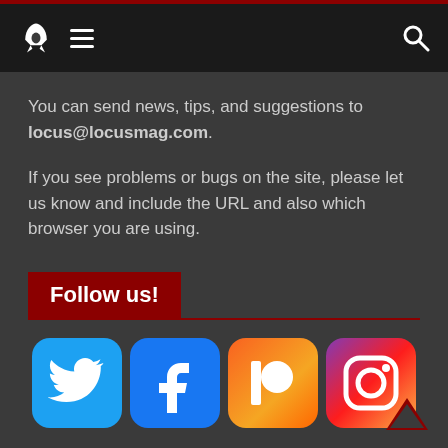Locus Magazine navigation header with rocket logo, hamburger menu, and search icon
You can send news, tips, and suggestions to locus@locusmag.com.
If you see problems or bugs on the site, please let us know and include the URL and also which browser you are using.
Follow us!
[Figure (logo): Twitter, Facebook, Patreon, and Instagram social media icons]
[Figure (other): Back to top arrow chevron icon in dark red/maroon at bottom right]